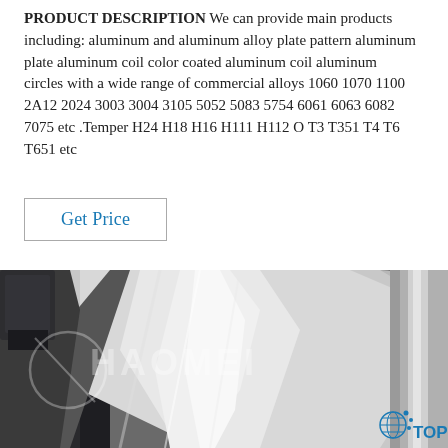PRODUCT DESCRIPTION  We can provide main products including: aluminum and aluminum alloy plate pattern aluminum plate aluminum coil color coated aluminum coil aluminum circles with a wide range of commercial alloys 1060 1070 1100 2A12 2024 3003 3004 3105 5052 5083 5754 6061 6063 6082 7075 etc .Temper H24 H18 H16 H111 H112 O T3 T351 T4 T6 T651 etc
[Figure (other): Get Price button — a rectangular button with border, blue text reading 'Get Price']
[Figure (photo): Industrial photo of shiny aluminum coil/roll being processed, with HAOMEI watermark in white across the image and a blue 'TOP' label with globe icon in bottom right corner]